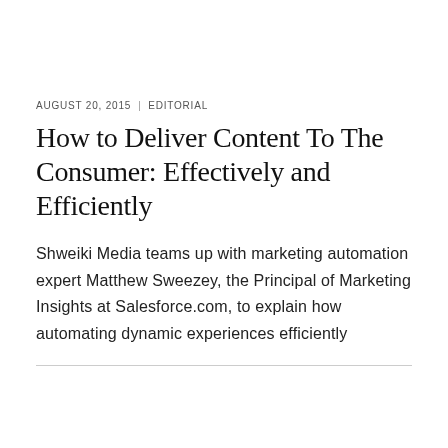AUGUST 20, 2015  EDITORIAL
How to Deliver Content To The Consumer: Effectively and Efficiently
Shweiki Media teams up with marketing automation expert Matthew Sweezey, the Principal of Marketing Insights at Salesforce.com, to explain how automating dynamic experiences efficiently